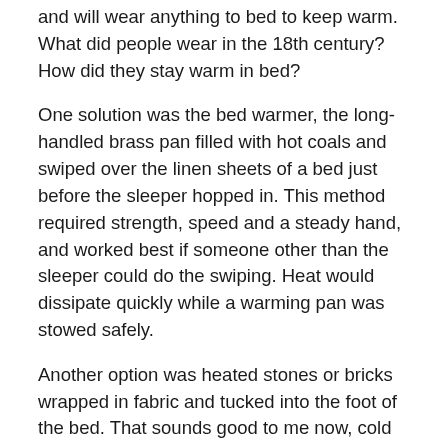and will wear anything to bed to keep warm. What did people wear in the 18th century? How did they stay warm in bed?
One solution was the bed warmer, the long-handled brass pan filled with hot coals and swiped over the linen sheets of a bed just before the sleeper hopped in. This method required strength, speed and a steady hand, and worked best if someone other than the sleeper could do the swiping. Heat would dissipate quickly while a warming pan was stowed safely.
Another option was heated stones or bricks wrapped in fabric and tucked into the foot of the bed. That sounds good to me now, cold as my sheets can be. Jane Nylander writes in “Our Own Snug Fireside” that some people perceived warming the bed as a sign of weakness, and it